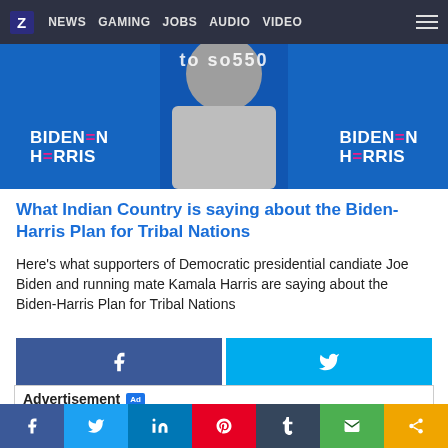Z  NEWS  GAMING  JOBS  AUDIO  VIDEO
[Figure (photo): Kamala Harris seated with Biden-Harris campaign logos on blue background]
What Indian Country is saying about the Biden-Harris Plan for Tribal Nations
Here's what supporters of Democratic presidential candiate Joe Biden and running mate Kamala Harris are saying about the Biden-Harris Plan for Tribal Nations
Advertisement
f  Twitter  in  Pinterest  Tumblr  Email  Share